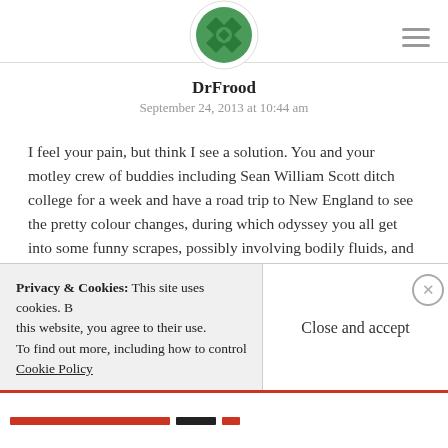[Figure (logo): Green circular decorative avatar/logo icon at top center]
DrFrood
September 24, 2013 at 10:44 am
I feel your pain, but think I see a solution. You and your motley crew of buddies including Sean William Scott ditch college for a week and have a road trip to New England to see the pretty colour changes, during which odyssey you all get into some funny scrapes, possibly involving bodily fluids, and learn the odd valuable life lesson.
Privacy & Cookies: This site uses cookies. By continuing to use this website, you agree to their use.
To find out more, including how to control cookies, see here:
Cookie Policy
[Close and accept]